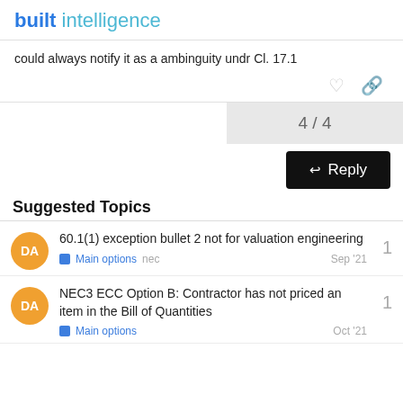built intelligence
could always notify it as a ambinguity undr Cl. 17.1
4 / 4
Reply
Suggested Topics
60.1(1) exception bullet 2 not for valuation engineering
Main options  nec  Sep '21
NEC3 ECC Option B: Contractor has not priced an item in the Bill of Quantities
Main options  Oct '21